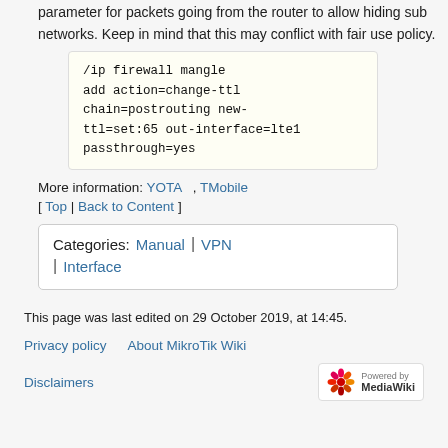parameter for packets going from the router to allow hiding sub networks. Keep in mind that this may conflict with fair use policy.
/ip firewall mangle
add action=change-ttl
chain=postrouting new-
ttl=set:65 out-interface=lte1
passthrough=yes
More information: YOTA , TMobile
[ Top | Back to Content ]
Categories: Manual | VPN | Interface
This page was last edited on 29 October 2019, at 14:45.
Privacy policy   About MikroTik Wiki
Disclaimers